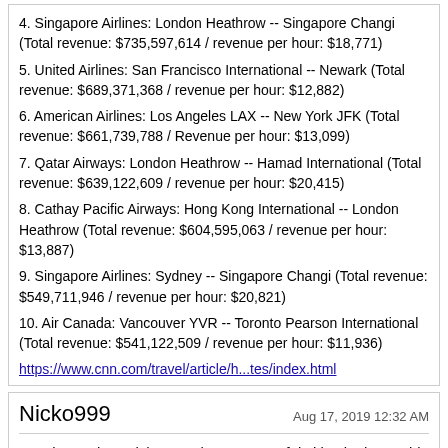4. Singapore Airlines: London Heathrow -- Singapore Changi (Total revenue: $735,597,614 / revenue per hour: $18,771)
5. United Airlines: San Francisco International -- Newark (Total revenue: $689,371,368 / revenue per hour: $12,882)
6. American Airlines: Los Angeles LAX -- New York JFK (Total revenue: $661,739,788 / Revenue per hour: $13,099)
7. Qatar Airways: London Heathrow -- Hamad International (Total revenue: $639,122,609 / revenue per hour: $20,415)
8. Cathay Pacific Airways: Hong Kong International -- London Heathrow (Total revenue: $604,595,063 / revenue per hour: $13,887)
9. Singapore Airlines: Sydney -- Singapore Changi (Total revenue: $549,711,946 / revenue per hour: $20,821)
10. Air Canada: Vancouver YVR -- Toronto Pearson International (Total revenue: $541,122,509 / revenue per hour: $11,936)
https://www.cnn.com/travel/article/h...tes/index.html
Nicko999
Aug 17, 2019 12:32 AM
:previous: The 2 richest and most powerful cities in the world, no surprise really.

What is surprising is to see Melbourne-Sydney 2nd and Montreal-Toronto not in the top 10.
thenoflyzone
Aug 17, 2019 6:18 AM